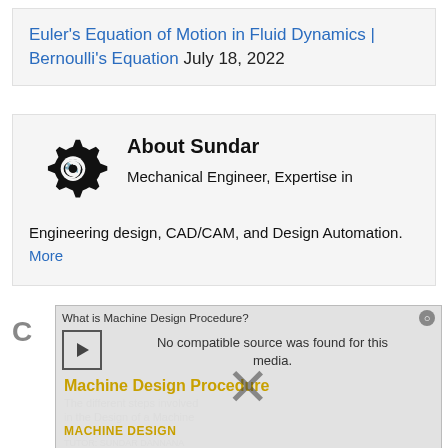Euler's Equation of Motion in Fluid Dynamics | Bernoulli's Equation July 18, 2022
About Sundar
Mechanical Engineer, Expertise in Engineering design, CAD/CAM, and Design Automation. More
[Figure (screenshot): Video player overlay showing 'What is Machine Design Procedure?' with no compatible source found message. Background shows Machine Design Procedure poster with text 'The different steps involved in the Design of a Machine', 'MACHINE DESIGN', 'TUTOR: SUNDAR DANNANA']